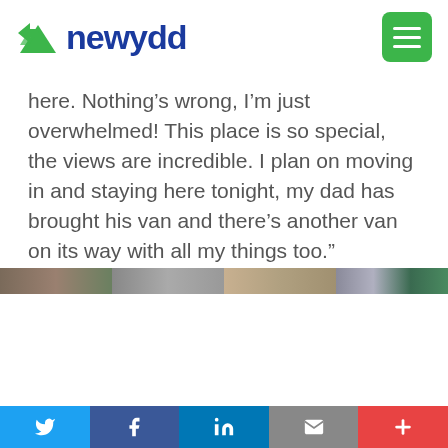newydd
here. Nothing’s wrong, I’m just overwhelmed! This place is so special, the views are incredible. I plan on moving in and staying here tonight, my dad has brought his van and there’s another van on its way with all my things too.”
[Figure (photo): Partial strip of photos showing outdoor scenes]
Social sharing bar: Twitter, Facebook, LinkedIn, Email, Plus